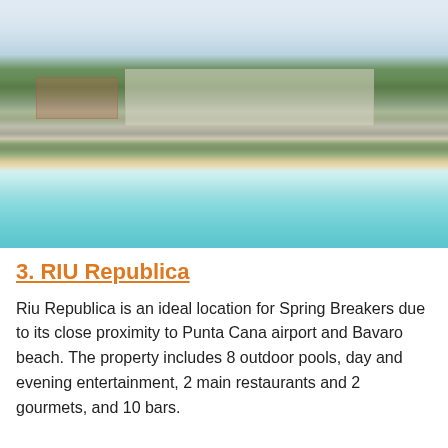[Figure (photo): Aerial view of RIU Republica resort complex showing multiple white hotel buildings, outdoor pools, palm-tree lined beach with turquoise ocean water and waves in the foreground, and green vegetation in the background.]
3. RIU Republica
Riu Republica is an ideal location for Spring Breakers due to its close proximity to Punta Cana airport and Bavaro beach. The property includes 8 outdoor pools, day and evening entertainment, 2 main restaurants and 2 gourmets, and 10 bars.